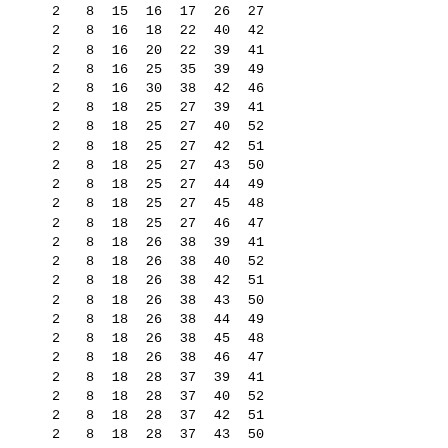| 2 | 8 | 15 | 16 | 17 | 26 | 27 |
| 2 | 8 | 16 | 18 | 22 | 40 | 42 |
| 2 | 8 | 16 | 20 | 22 | 39 | 41 |
| 2 | 8 | 16 | 25 | 35 | 39 | 49 |
| 2 | 8 | 16 | 30 | 38 | 42 | 46 |
| 2 | 8 | 18 | 25 | 27 | 39 | 41 |
| 2 | 8 | 18 | 25 | 27 | 40 | 52 |
| 2 | 8 | 18 | 25 | 27 | 42 | 51 |
| 2 | 8 | 18 | 25 | 27 | 43 | 50 |
| 2 | 8 | 18 | 25 | 27 | 44 | 49 |
| 2 | 8 | 18 | 25 | 27 | 45 | 48 |
| 2 | 8 | 18 | 25 | 27 | 46 | 47 |
| 2 | 8 | 18 | 26 | 38 | 39 | 41 |
| 2 | 8 | 18 | 26 | 38 | 40 | 52 |
| 2 | 8 | 18 | 26 | 38 | 42 | 51 |
| 2 | 8 | 18 | 26 | 38 | 43 | 50 |
| 2 | 8 | 18 | 26 | 38 | 44 | 49 |
| 2 | 8 | 18 | 26 | 38 | 45 | 48 |
| 2 | 8 | 18 | 26 | 38 | 46 | 47 |
| 2 | 8 | 18 | 28 | 37 | 39 | 41 |
| 2 | 8 | 18 | 28 | 37 | 40 | 52 |
| 2 | 8 | 18 | 28 | 37 | 42 | 51 |
| 2 | 8 | 18 | 28 | 37 | 43 | 50 |
| 2 | 8 | 18 | 28 | 37 | 44 | 49 |
| 2 | 8 | 18 | 28 | 37 | 45 | 48 |
| 2 | 8 | 18 | 28 | 37 | 46 | 47 |
| 2 | 8 | 18 | 29 | 36 | 39 | 41 |
| 2 | 8 | 18 | 29 | 36 | 40 | 52 |
| 2 | 8 | 18 | 29 | 36 | 42 | 51 |
| 2 | 8 | 18 | 29 | 36 | 43 | 50 |